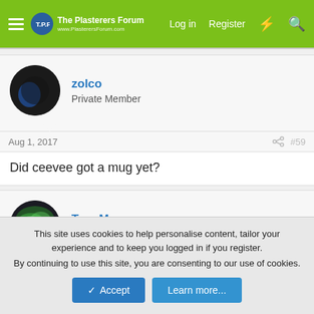The Plasterers Forum | Log in | Register
zolco
Private Member
Aug 1, 2017  #59
Did ceevee got a mug yet?
TonyM
Private Member
Aug 1, 2017  #60
This site uses cookies to help personalise content, tailor your experience and to keep you logged in if you register.
By continuing to use this site, you are consenting to our use of cookies.